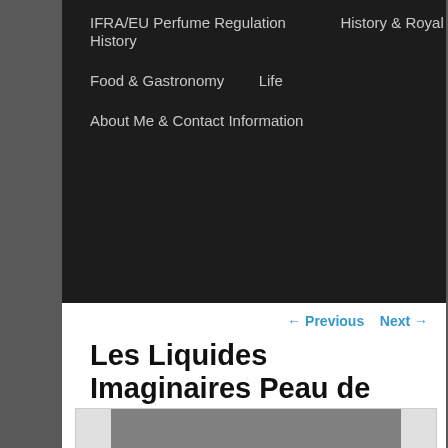IFRA/EU Perfume Regulation | History & Royal History | Food & Gastronomy | Life | About Me & Contact Information
← Previous   Next →
Les Liquides Imaginaires Peau de Bete: Sex & The Beast
Posted on August 20, 2016
[Figure (photo): Black and white photograph partially visible at the bottom of the page]